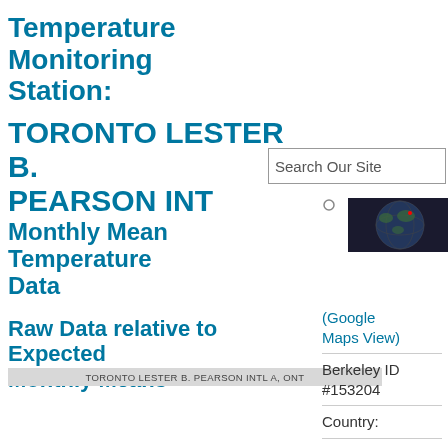Temperature Monitoring Station:
TORONTO LESTER B. PEARSON INT
Monthly Mean Temperature Data
Raw Data relative to Expected Monthly Means
[Figure (other): Search box UI element reading 'Search Our Site']
[Figure (photo): Globe/world map photo with red location marker]
(Google Maps View)
Berkeley ID #153204
Country:
Monthly Observations